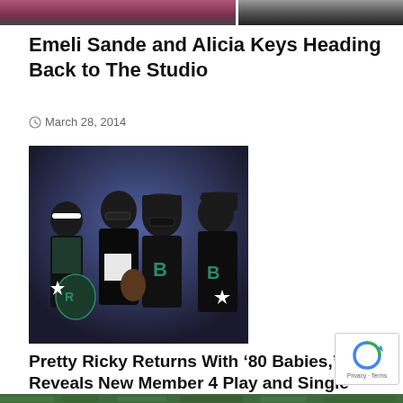[Figure (photo): Partial top strip showing two cropped photos — left appears to be a music artist, right shows another figure against dark background]
Emeli Sande and Alicia Keys Heading Back to The Studio
March 28, 2014
[Figure (photo): Group photo of Pretty Ricky — four young male artists in dark jackets/letterman jackets with teal logos, wearing sunglasses and hats, posed against blue background]
Pretty Ricky Returns With '80 Babies,' Reveals New Member 4 Play and Single 'Cuddle Up'
May 16, 2008
[Figure (photo): Bottom strip — partial image showing green foliage or chain link fence]
[Figure (logo): Google reCAPTCHA badge with Privacy and Terms links]